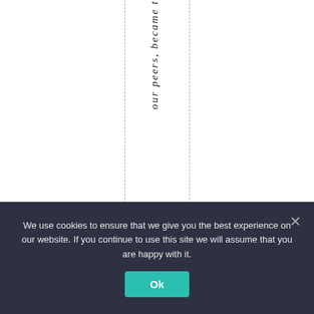our peers, became t
We use cookies to ensure that we give you the best experience on our website. If you continue to use this site we will assume that you are happy with it.
Ok